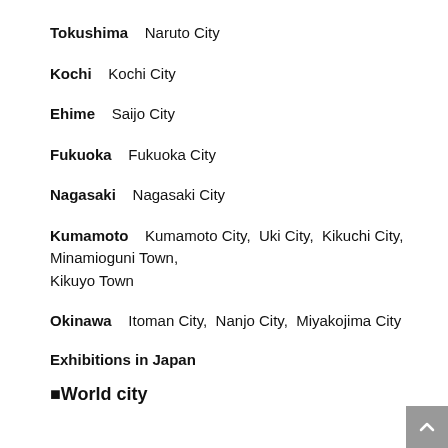Tokushima   Naruto City
Kochi   Kochi City
Ehime   Saijo City
Fukuoka   Fukuoka City
Nagasaki   Nagasaki City
Kumamoto   Kumamoto City,  Uki City,  Kikuchi City,  Minamioguni Town,  Kikuyo Town
Okinawa   Itoman City,  Nanjo City,  Miyakojima City
Exhibitions in Japan
■World city